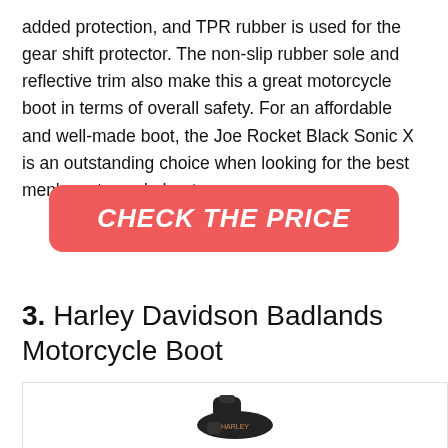added protection, and TPR rubber is used for the gear shift protector. The non-slip rubber sole and reflective trim also make this a great motorcycle boot in terms of overall safety. For an affordable and well-made boot, the Joe Rocket Black Sonic X is an outstanding choice when looking for the best men's motorcycle boots.
[Figure (other): Red rounded rectangle button with white bold italic text reading CHECK THE PRICE]
3. Harley Davidson Badlands Motorcycle Boot
[Figure (photo): Product image of Harley Davidson Badlands Motorcycle Boot, black boot shown, with green SALE badge in top right corner]